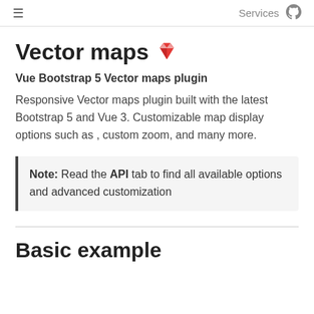≡   Services  GitHub
Vector maps 💎
Vue Bootstrap 5 Vector maps plugin
Responsive Vector maps plugin built with the latest Bootstrap 5 and Vue 3. Customizable map display options such as , custom zoom, and many more.
Note: Read the API tab to find all available options and advanced customization
Basic example